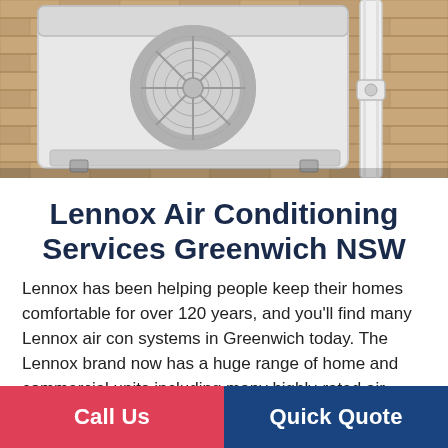[Figure (photo): Outdoor air conditioning unit (white) mounted on a brick wall with PVC pipe running down the side]
Lennox Air Conditioning Services Greenwich NSW
Lennox has been helping people keep their homes comfortable for over 120 years, and you’ll find many Lennox air con systems in Greenwich today. The Lennox brand now has a huge range of home and commercial units including many highly-rated air conditioning options.
The next line is partially visible at the bottom
Call Us   Quick Quote